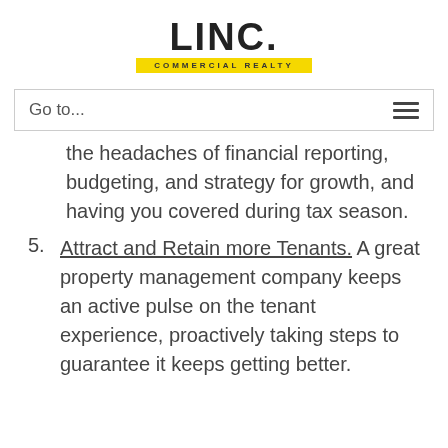[Figure (logo): LINC. COMMERCIAL REALTY logo — bold black LINC. text with yellow banner reading COMMERCIAL REALTY]
Go to...
the headaches of financial reporting, budgeting, and strategy for growth, and having you covered during tax season.
5. Attract and Retain more Tenants. A great property management company keeps an active pulse on the tenant experience, proactively taking steps to guarantee it keeps getting better.